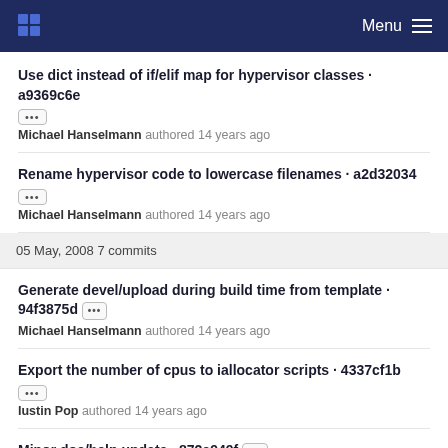Menu
Use dict instead of if/elif map for hypervisor classes · a9369c6e
Michael Hanselmann authored 14 years ago
Rename hypervisor code to lowercase filenames · a2d32034
Michael Hanselmann authored 14 years ago
05 May, 2008 7 commits
Generate devel/upload during build time from template · 94f3875d
Michael Hanselmann authored 14 years ago
Export the number of cpus to iallocator scripts · 4337cf1b
Iustin Pop authored 14 years ago
Minor doc/help update · 872c949f